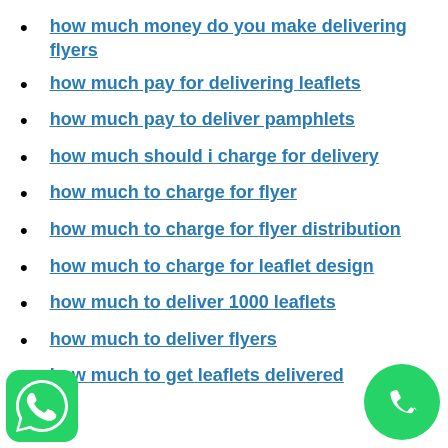how much money do you make delivering flyers
how much pay for delivering leaflets
how much pay to deliver pamphlets
how much should i charge for delivery
how much to charge for flyer
how much to charge for flyer distribution
how much to charge for leaflet design
how much to deliver 1000 leaflets
how much to deliver flyers
how much to get leaflets delivered